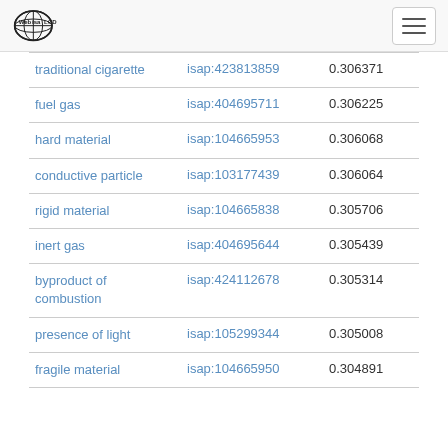WebIsaLOD
| concept | isap | score |
| --- | --- | --- |
| traditional cigarette | isap:423813859 | 0.306371 |
| fuel gas | isap:404695711 | 0.306225 |
| hard material | isap:104665953 | 0.306068 |
| conductive particle | isap:103177439 | 0.306064 |
| rigid material | isap:104665838 | 0.305706 |
| inert gas | isap:404695644 | 0.305439 |
| byproduct of combustion | isap:424112678 | 0.305314 |
| presence of light | isap:105299344 | 0.305008 |
| fragile material | isap:104665950 | 0.304891 |